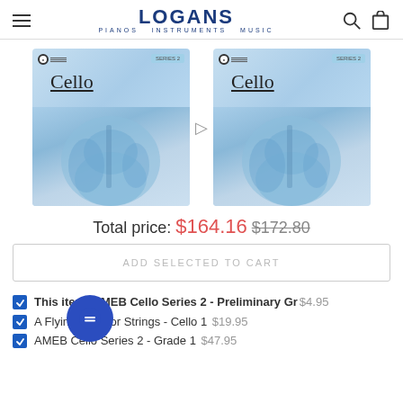LOGANS — PIANOS INSTRUMENTS MUSIC
[Figure (photo): Two AMEB Cello Series 2 book covers side by side, light blue color with cello imagery and 'Cello' text]
Total price: $164.16 $172.80
ADD SELECTED TO CART
This item: AMEB Cello Series 2 - Preliminary Grade $4.95
A Flying Start for Strings - Cello 1 $19.95
AMEB Cello Series 2 - Grade 1 $47.95